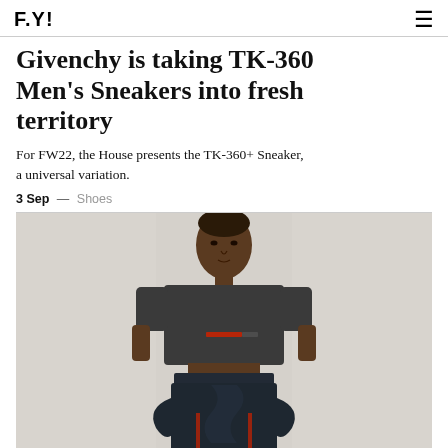F.Y!
Givenchy is taking TK-360 Men's Sneakers into fresh territory
For FW22, the House presents the TK-360+ Sneaker, a universal variation.
3 Sep — Shoes
[Figure (photo): Fashion editorial photo of a male model wearing a dark grey cropped t-shirt with red text print, dark navy ruffled wide-leg pants, against a light grey background]